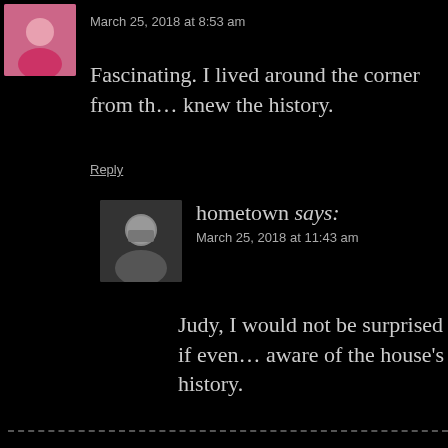March 25, 2018 at 8:53 am
Fascinating. I lived around the corner from th… knew the history.
Reply
hometown says:
March 25, 2018 at 11:43 am
Judy, I would not be surprised if even… aware of the house's history.
Hank O'Neal says:
October 31, 2016 at 7:40 pm
What a wonderful post. It helped me a great d… on about East Texas. Thanks very much.
Reply